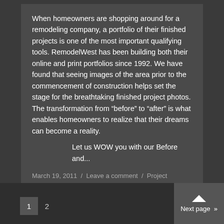When homeowners are shopping around for a remodeling company, a portfolio of their finished projects is one of the most important qualifying tools. RemodelWest has been building both their online and print portfolios since 1992. We have found that seeing images of the area prior to the commencement of construction helps set the stage for the breathtaking finished project photos. The transformation from “before” to “after” is what enables homeowners to realize that their dreams can become a reality.
Let us WOW you with our Before and...
March 19, 2011 / Leave a comment / Project Portfolio / By Bill Reid
1  2  Next page >>